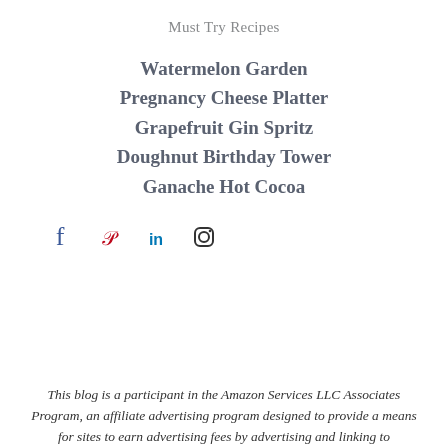Must Try Recipes
Watermelon Garden
Pregnancy Cheese Platter
Grapefruit Gin Spritz
Doughnut Birthday Tower
Ganache Hot Cocoa
[Figure (infographic): Social media icons: Facebook, Pinterest, LinkedIn, Instagram]
This blog is a participant in the Amazon Services LLC Associates Program, an affiliate advertising program designed to provide a means for sites to earn advertising fees by advertising and linking to